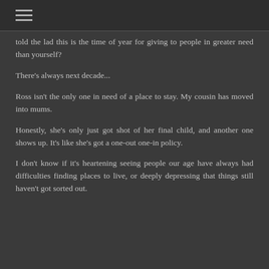told the lad this is the time of year for giving to people in greater need than yourself?
There's always next decade...
Ross isn't the only one in need of a place to stay. My cousin has moved into mums.
Honestly, she's only just got shot of her final child, and another one shows up. It's like she's got a one-out one-in policy.
I don't know if it's heartening seeing people our age have always had difficulties finding places to live, or deeply depressing that things still haven't got sorted out.